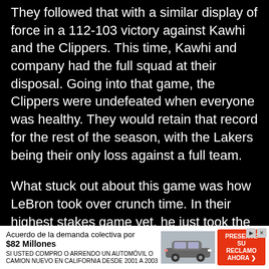They followed that with a similar display of force in a 112-103 victory against Kawhi and the Clippers. This time, Kawhi and company had the full squad at their disposal. Going into that game, the Clippers were undefeated when everyone was healthy. They would retain that record for the rest of the season, with the Lakers being their only loss against a full team.
What stuck out about this game was how LeBron took over crunch time. In their highest stakes game yet, he just took the rock to the hole and laid it in every time his team needed it. Sometimes when LeBron isn't being aggressive in the first three quarters it seems like he's off. It was a reminder that if his team needs a bucket, he can still power through and get one.
The two wins had the Lakers on top of the basketball world in the national discourse. No matter how much
[Figure (other): Advertisement banner: 'Acuerdo de la demanda colectiva por $82 Millones. SI USTED COMPRO O ARRENDO UN AUTOMÓVIL O CAMION NUEVO EN CALIFORNIA DESDE 2001 A 2003. PRESENTE SU RECLAMO AHORA.' with a car image and a red call-to-action button.]